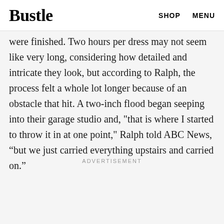Bustle | SHOP MENU
through cutting, crumpling, and shredding so
er the course of four hours, the dresses were finished. Two hours per dress may not seem like very long, considering how detailed and intricate they look, but according to Ralph, the process felt a whole lot longer because of an obstacle that hit. A two-inch flood began seeping into their garage studio and, "that is where I started to throw it in at one point," Ralph told ABC News, “but we just carried everything upstairs and carried on.”
ADVERTISEMENT